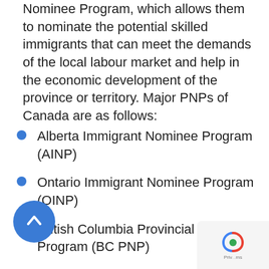Nominee Program, which allows them to nominate the potential skilled immigrants that can meet the demands of the local labour market and help in the economic development of the province or territory. Major PNPs of Canada are as follows:
Alberta Immigrant Nominee Program (AINP)
Ontario Immigrant Nominee Program (OINP)
British Columbia Provincial Nominee Program (BC PNP)
Manitoba Provincial Nominee Program (MPNP)
Nova Scotia Nominee Program (NS NP)